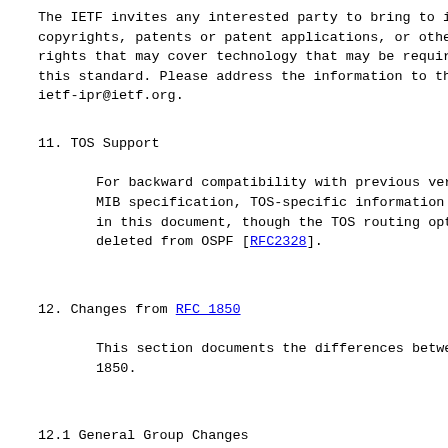The IETF invites any interested party to bring to its
copyrights, patents or patent applications, or other p
rights that may cover technology that may be required
this standard. Please address the information to the I
ietf-ipr@ietf.org.
11. TOS Support
For backward compatibility with previous versions of
MIB specification, TOS-specific information has been
in this document, though the TOS routing option has b
deleted from OSPF [RFC2328].
12. Changes from RFC 1850
This section documents the differences between this m
1850.
12.1 General Group Changes
Added object ospfRFC1583Compatibility to indicate sup
"RFC 1583 Compatibility" This object has DEFVAL of "e
Added object ospfReferenceBandwidth to allow configur
a reference bandwidth for calculation of default inte
Added objects ospfRestartSupport, ospfRestartInterva